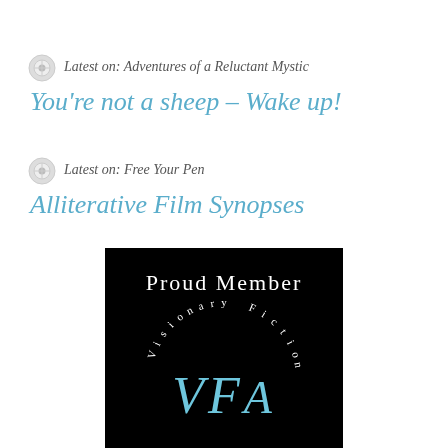Latest on: Adventures of a Reluctant Mystic
You're not a sheep – Wake up!
Latest on: Free Your Pen
Alliterative Film Synopses
[Figure (logo): Proud Member badge for Visionary Fiction Alliance (VFA) — black background with white 'Proud Member' text, 'Visionary Fiction' text arranged in an arc, and stylized 'VFN' letters in light blue]